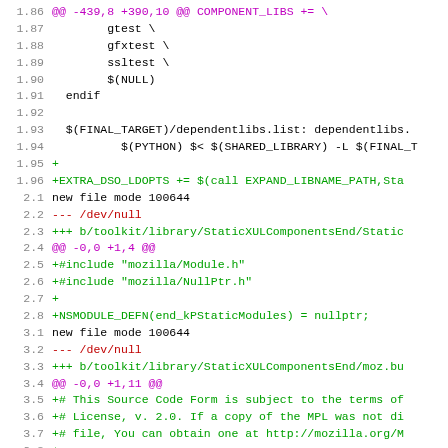[Figure (screenshot): Diff/patch code view showing file changes with line numbers on the left, colored syntax: purple for hunk headers, green for added lines, red for removed lines, black for context lines. Lines 1.86-3.13 of a patch file for Mozilla toolkit build system files.]